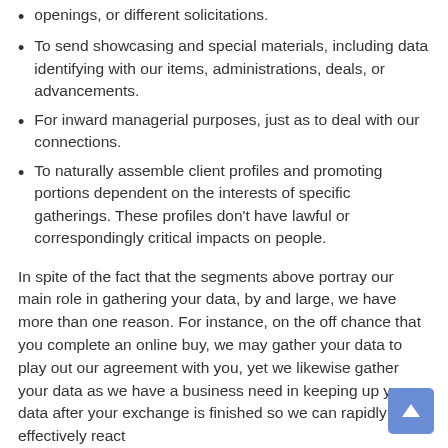openings, or different solicitations.
To send showcasing and special materials, including data identifying with our items, administrations, deals, or advancements.
For inward managerial purposes, just as to deal with our connections.
To naturally assemble client profiles and promoting portions dependent on the interests of specific gatherings. These profiles don't have lawful or correspondingly critical impacts on people.
In spite of the fact that the segments above portray our main role in gathering your data, by and large, we have more than one reason. For instance, on the off chance that you complete an online buy, we may gather your data to play out our agreement with you, yet we likewise gather your data as we have a business need in keeping up your data after your exchange is finished so we can rapidly and effectively react